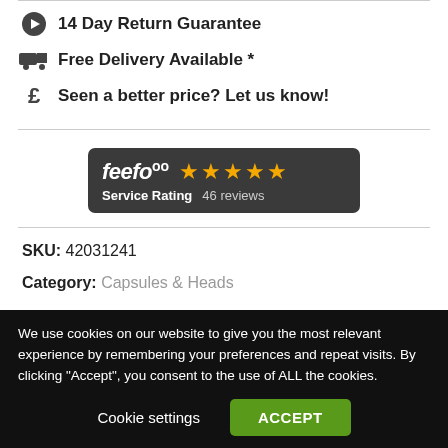14 Day Return Guarantee
Free Delivery Available *
Seen a better price? Let us know!
[Figure (logo): Feefo service rating badge showing 5 gold stars and 46 reviews on dark background]
SKU: 42031241
Category: Capsules & Heads
We use cookies on our website to give you the most relevant experience by remembering your preferences and repeat visits. By clicking "Accept", you consent to the use of ALL the cookies.
Cookie settings  ACCEPT